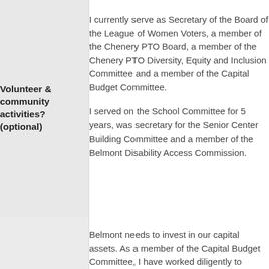| Label | Content |
| --- | --- |
| Volunteer & community activities? (optional) | I currently serve as Secretary of the Board of the League of Women Voters, a member of the Chenery PTO Board, a member of the Chenery PTO Diversity, Equity and Inclusion Committee and a member of the Capital Budget Committee.

I served on the School Committee for 5 years, was secretary for the Senior Center Building Committee and a member of the Belmont Disability Access Commission. |
| Candidate's | Belmont needs to invest in our capital assets. As a member of the Capital Budget Committee, I have worked diligently to approve capital projects on a limited budget. The town needs to allocate additional funds to the discretionary capital budget to protect town assets. Belmont operates on a lean |